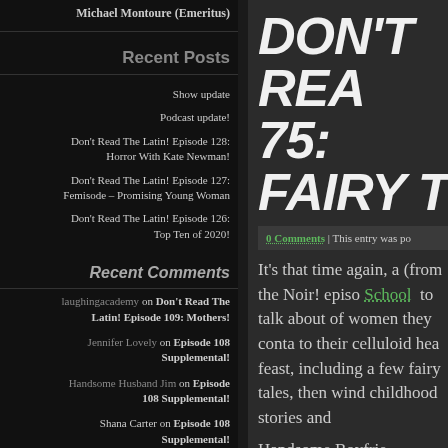Michael Montoure (Emeritus)
Recent Posts
Show update
Podcast update!
Don't Read The Latin! Episode 128: Horror With Kate Newman!
Don't Read The Latin! Episode 127: Femisode – Promising Young Woman
Don't Read The Latin! Episode 126: Top Ten of 2020!
Recent Comments
laughingacademy on Don't Read The Latin! Episode 109: Mothers!
Jennifer Lovely on Episode 108 Supplemental!
Handsome Husband Jim on Episode 108 Supplemental!
Shana Carter on Episode 108 Supplemental!
Minty on Don't Read The Latin! Episode
DON'T REA... 75: FAIRY T...
0 Comments | This entry was po...
It's that time again, a... (from the Noir! episo... School to talk about... of women they conta... to their celluloid hea... feast, including a few... fairy tales, then wind... childhood stories and...
Handsome Boyfrie...